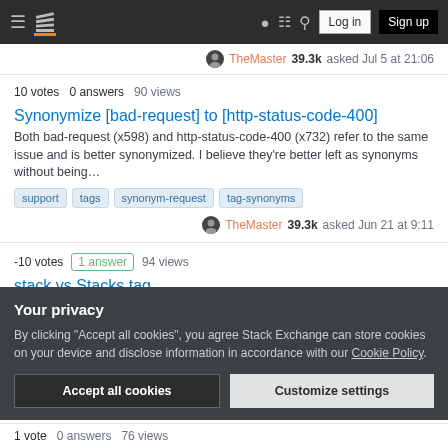Stack Exchange navigation bar with Log in and Sign up buttons
TheMaster 39.3k asked Jul 5 at 21:06
10 votes  0 answers  90 views
Synonymize [bad-request] to [http-status-code-400]
Both bad-request (x598) and http-status-code-400 (x732) refer to the same issue and is better synonymized. I believe they're better left as synonyms without being…
support  tags  synonym-request  tag-synonyms
TheMaster 39.3k asked Jun 21 at 9:11
-10 votes  1 answer  94 views
stack vs Stacks tag
Your privacy
By clicking "Accept all cookies", you agree Stack Exchange can store cookies on your device and disclose information in accordance with our Cookie Policy.
1 vote  0 answers  76 views